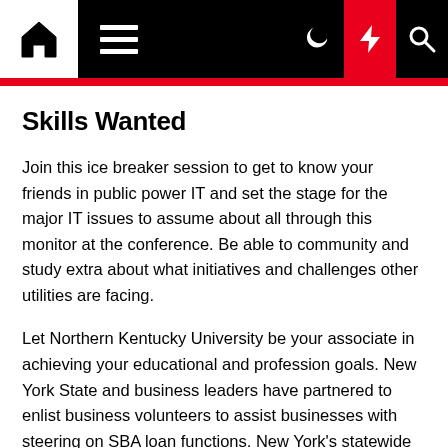Navigation bar with home, menu, dark mode, lightning, and search icons
Skills Wanted
Join this ice breaker session to get to know your friends in public power IT and set the stage for the major IT issues to assume about all through this monitor at the conference. Be able to community and study extra about what initiatives and challenges other utilities are facing.
Let Northern Kentucky University be your associate in achieving your educational and profession goals. New York State and business leaders have partnered to enlist business volunteers to assist businesses with steering on SBA loan functions. New York's statewide community network of Entrepreneurship Assistance Centers and Small Business Development Centers can be found to supply